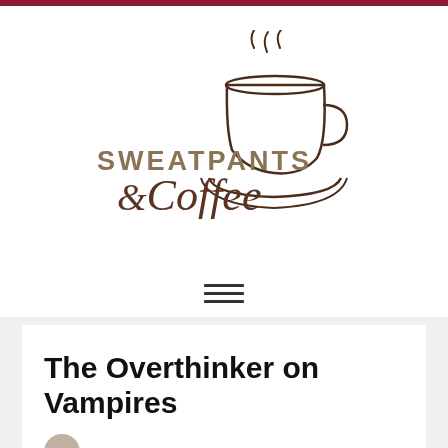[Figure (logo): Sweatpants & Coffee logo with a steaming coffee cup illustration above the text]
[Figure (infographic): Hamburger menu icon with three horizontal lines]
The Overthinker on Vampires